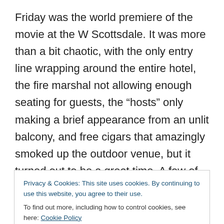Friday was the world premiere of the movie at the W Scottsdale. It was more than a bit chaotic, with the only entry line wrapping around the entire hotel, the fire marshal not allowing enough seating for guests, the “hosts” only making a brief appearance from an unlit balcony, and free cigars that amazingly smoked up the outdoor venue, but it turned out to be a great time. A few of us indulged in some wonderful bites at Sushi Roku before heading upstairs. We toted a bottle of Caduceus 2008 Nagual del Marzo up to a friend’s room and sampled this wine for the first time (only available through the
Privacy & Cookies: This site uses cookies. By continuing to use this website, you agree to their use.
To find out more, including how to control cookies, see here: Cookie Policy
drastic difference between vineyards (this was grown on